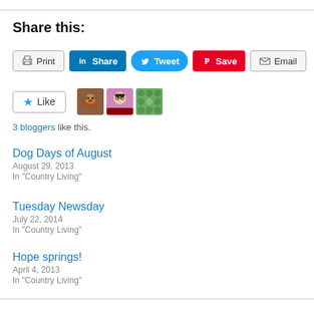Share this:
[Figure (infographic): Social sharing buttons: Print, Share (LinkedIn), Tweet (Twitter), Save (Pinterest), Email]
[Figure (infographic): Like button with star icon and three blogger avatars (dog photo, person with glasses, green pattern). Text: 3 bloggers like this.]
3 bloggers like this.
Dog Days of August
August 29, 2013
In "Country Living"
Tuesday Newsday
July 22, 2014
In "Country Living"
Hope springs!
April 4, 2013
In "Country Living"